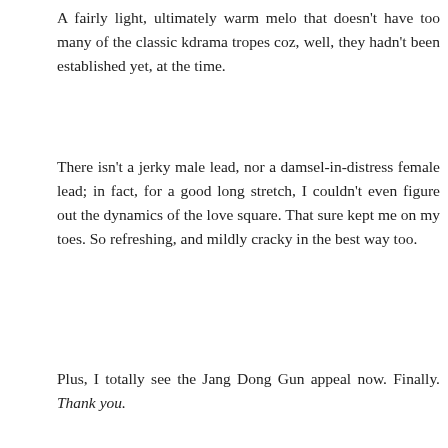A fairly light, ultimately warm melo that doesn't have too many of the classic kdrama tropes coz, well, they hadn't been established yet, at the time.
There isn't a jerky male lead, nor a damsel-in-distress female lead; in fact, for a good long stretch, I couldn't even figure out the dynamics of the love square. That sure kept me on my toes. So refreshing, and mildly cracky in the best way too.
Plus, I totally see the Jang Dong Gun appeal now. Finally. Thank you.
[Figure (photo): Photo of a man (Jang Dong Gun) showing his face and dark hair against a light/white background]